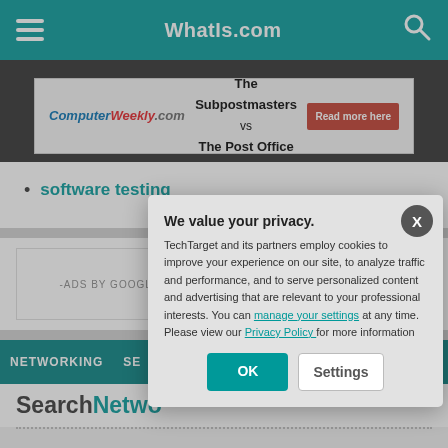WhatIs.com
[Figure (screenshot): ComputerWeekly.com advertisement banner: 'The Subpostmasters vs The Post Office' with Read more here button]
software testing
-ADS BY GOOGLE
NETWORKING SE...
SearchNetwo...
[Figure (screenshot): Privacy consent modal: 'We value your privacy. TechTarget and its partners employ cookies to improve your experience on our site, to analyze traffic and performance, and to serve personalized content and advertising that are relevant to your professional interests. You can manage your settings at any time. Please view our Privacy Policy for more information' with OK and Settings buttons]